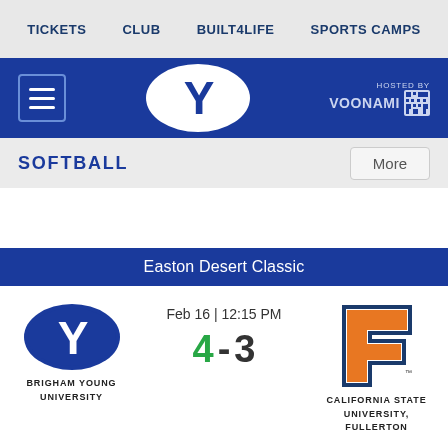TICKETS  CLUB  BUILT4LIFE  SPORTS CAMPS
[Figure (logo): BYU blue header bar with hamburger menu, BYU Y logo in white oval, and Voonami hosted-by branding]
SOFTBALL
More
Easton Desert Classic
[Figure (logo): BYU Brigham Young University logo - dark blue oval with white Y]
Feb 16 | 12:15 PM
4 - 3
[Figure (logo): Cal State Fullerton Titans logo - orange block F with navy outline]
BRIGHAM YOUNG UNIVERSITY
CALIFORNIA STATE UNIVERSITY, FULLERTON